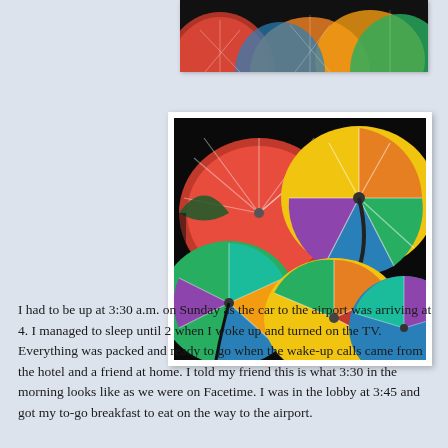[Figure (photo): Partial view of colorful umbrellas from above, cropped at top of page]
[Figure (photo): Overhead view of multiple colorful open umbrellas in various rainbow colors including red, orange, yellow, green, blue, and purple arranged closely together]
I had to be up at 3:30 a.m. on Sunday as the car to the airport was arriving at 4.  I managed to sleep until 2 when I woke up and turned on the TV.  Everything was packed and ready to go when the wake-up calls came from the hotel and a friend at home.  I told my friend this is what 3:30 in the morning looks like as we were on Facetime.  I was in the lobby at 3:45 and got my to-go breakfast to eat on the way to the airport.